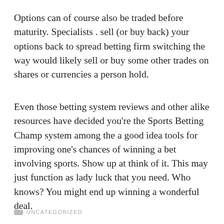Options can of course also be traded before maturity. Specialists . sell (or buy back) your options back to spread betting firm switching the way would likely sell or buy some other trades on shares or currencies a person hold.
Even those betting system reviews and other alike resources have decided you're the Sports Betting Champ system among the a good idea tools for improving one's chances of winning a bet involving sports. Show up at think of it. This may just function as lady luck that you need. Who knows? You might end up winning a wonderful deal.
UNCATEGORIZED